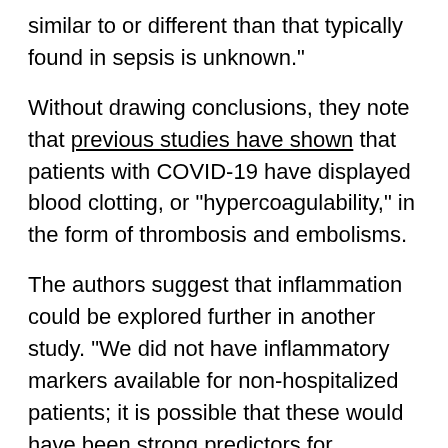degree to which COVID-19-related inflammation is similar to or different than that typically found in sepsis is unknown."
Without drawing conclusions, they note that previous studies have shown that patients with COVID-19 have displayed blood clotting, or "hypercoagulability," in the form of thrombosis and embolisms.
The authors suggest that inflammation could be explored further in another study. "We did not have inflammatory markers available for non-hospitalized patients; it is possible that these would have been strong predictors for hospitalization risk as well if available."